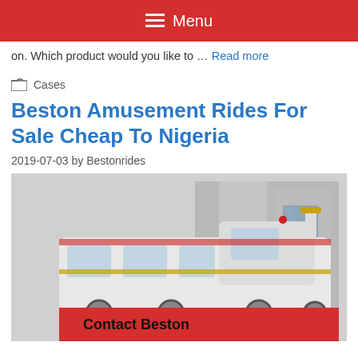☰ Menu
on. Which product would you like to … Read more
Cases
Beston Amusement Rides For Sale Cheap To Nigeria
2019-07-03 by Bestonrides
[Figure (photo): Photo of a white and gold amusement train ride parked near a grey industrial building. In the foreground is a red banner reading 'Contact Beston'.]
Contact Beston